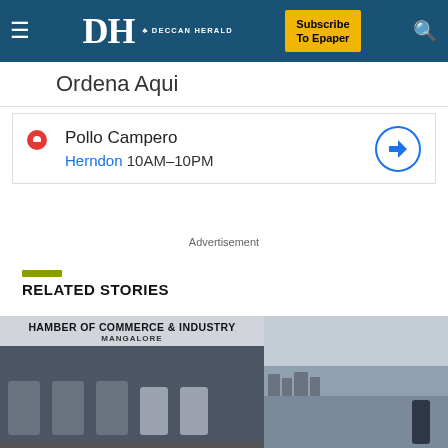Deccan Herald — Subscribe To Epaper
Ordena Aqui
Pollo Campero
Herndon 10AM–10PM
Advertisement
RELATED STORIES
[Figure (photo): Chamber of Commerce & Industry Mangalore event with seated panel of people]
[Figure (photo): Person standing on rooftop with Hawa Mahal or similar heritage building in background, Jaipur]